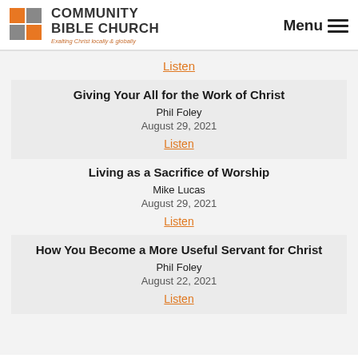[Figure (logo): Community Bible Church logo with orange and grey squares and church name]
Menu ≡
Listen
Giving Your All for the Work of Christ
Phil Foley
August 29, 2021
Listen
Living as a Sacrifice of Worship
Mike Lucas
August 29, 2021
Listen
How You Become a More Useful Servant for Christ
Phil Foley
August 22, 2021
Listen